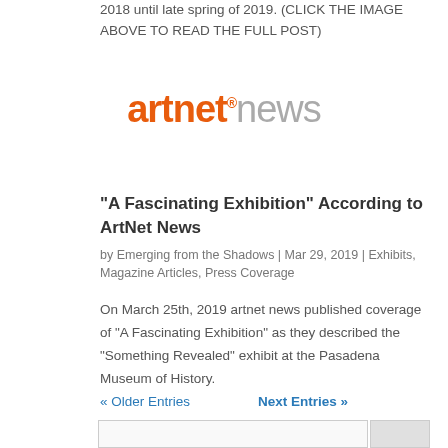2018 until late spring of 2019. (CLICK THE IMAGE ABOVE TO READ THE FULL POST)
[Figure (logo): artnet news logo — 'artnet' in orange bold text with registered trademark symbol, 'news' in grey]
“A Fascinating Exhibition” According to ArtNet News
by Emerging from the Shadows | Mar 29, 2019 | Exhibits, Magazine Articles, Press Coverage
On March 25th, 2019 artnet news published coverage of “A Fascinating Exhibition” as they described the “Something Revealed” exhibit at the Pasadena Museum of History.
« Older Entries    Next Entries »